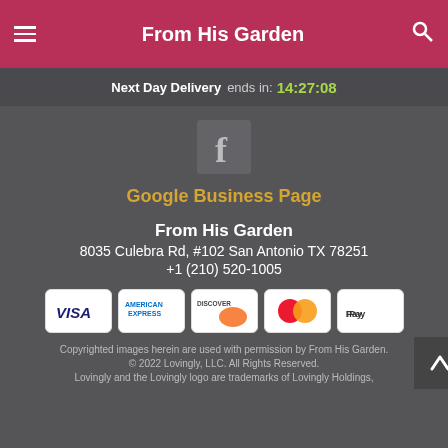From His Garden
Next Day Delivery ends in: 14:27:08
[Figure (logo): Facebook icon logo in grey square]
Google Business Page
From His Garden
8035 Culebra Rd, #102 San Antonio TX 78251
+1 (210) 520-1005
[Figure (infographic): Payment method icons: Visa, American Express, Discover, Mastercard, Apple Pay]
Copyrighted images herein are used with permission by From His Garden.
© 2022 Lovingly, LLC. All Rights Reserved.
Lovingly and the Lovingly logo are trademarks of Lovingly Holdings,